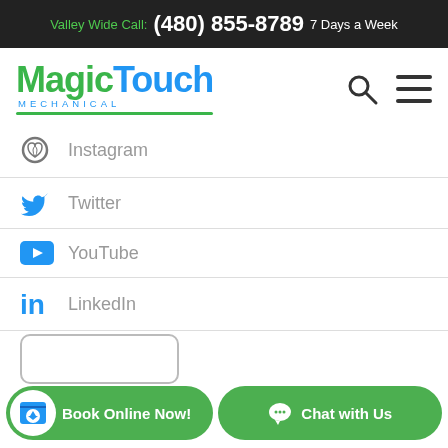Valley Wide Call: (480) 855-8789 7 Days a Week
[Figure (logo): Magic Touch Mechanical logo with green 'Magic' and blue 'Touch' text, MECHANICAL subtitle, green underline]
Instagram
Twitter
YouTube
LinkedIn
[Figure (infographic): Book Online Now! and Chat with Us green CTA buttons at the bottom of the page]